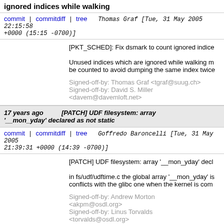ignored indices while walking
commit | commitdiff | tree   Thomas Graf [Tue, 31 May 2005 22:15:58 +0000 (15:15 -0700)]
[PKT_SCHED]: Fix dsmark to count ignored indices while walking

Unused indices which are ignored while walking must be counted to avoid dumping the same index twice.

Signed-off-by: Thomas Graf <tgraf@suug.ch>
Signed-off-by: David S. Miller <davem@davemloft.net>
17 years ago   [PATCH] UDF filesystem: array '__mon_yday' declared as not static
commit | commitdiff | tree   Goffredo Baroncelli [Tue, 31 May 2005 21:39:31 +0000 (14:39 -0700)]
[PATCH] UDF filesystem: array '__mon_yday' declared as not static

in fs/udf/udftime.c the global array '__mon_yday' is conflicts with the glibc one when the kernel is compiled...

Signed-off-by: Andrew Morton <akpm@osdl.org>
Signed-off-by: Linus Torvalds <torvalds@osdl.org>
17 years ago   [PATCH] pcdp.c build fix